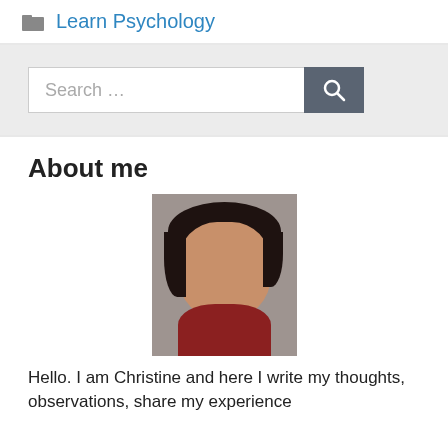Learn Psychology
[Figure (screenshot): Search bar with text 'Search ...' and a dark search button with magnifying glass icon]
About me
[Figure (photo): Portrait photo of Christine, a woman with short dark hair, smiling slightly, against a grey background]
Hello. I am Christine and here I write my thoughts, observations, share my experience